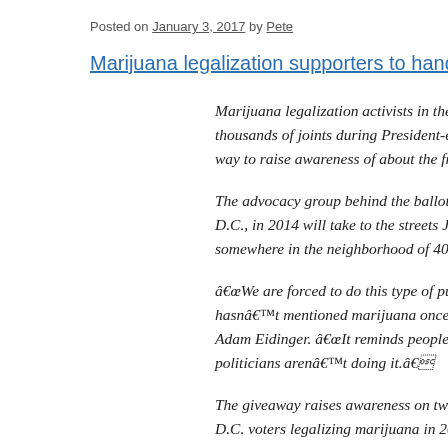Posted on January 3, 2017 by Pete
Marijuana legalization supporters to hand out 4,200 joints at Tru
Marijuana legalization activists in the nationâ€™s capi... thousands of joints during President-elect Donald Trump... way to raise awareness of about the fragility of legal po...
The advocacy group behind the ballot initiative that lego... D.C., in 2014 will take to the streets Jan. 20 to give awa... somewhere in the neighborhood of 40 ounces of marijua...
â€œWe are forced to do this type of publicity stunt becau... hasnâ€™t mentioned marijuana once since he was elec... Adam Eidinger. â€œIt reminds people that the public wa... politicians arenâ€™t doing it.â€
The giveaway raises awareness on two distinct fronts â€... D.C. voters legalizing marijuana in 2014, it remains ille...